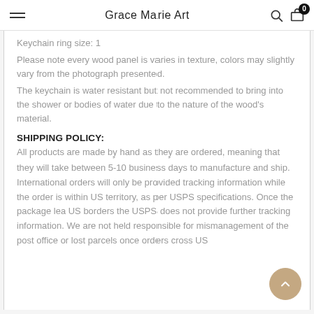Grace Marie Art
Keychain ring size: 1
Please note every wood panel is varies in texture, colors may slightly vary from the photograph presented.
The keychain is water resistant but not recommended to bring into the shower or bodies of water due to the nature of the wood's material.
SHIPPING POLICY:
All products are made by hand as they are ordered, meaning that they will take between 5-10 business days to manufacture and ship. International orders will only be provided tracking information while the order is within US territory, as per USPS specifications. Once the package lea US borders the USPS does not provide further tracking information. We are not held responsible for mismanagement of the post office or lost parcels once orders cross US